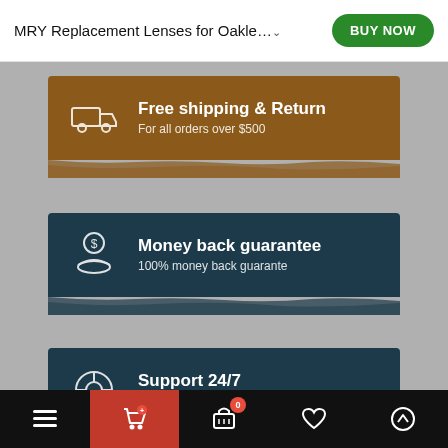MRY Replacement Lenses for Oakle…
[Figure (infographic): Brown banner with truck icon: Free shipping & Return - For all orders over $500]
[Figure (infographic): Dark teal banner with hand holding coin icon: Money back guarantee - 100% money back guarante]
[Figure (infographic): Dark teal banner with lifebuoy icon: Support 24/7 - We answer for question all time]
Navigation bar with menu, cart (red), basket with badge 0, heart, and up-arrow icons